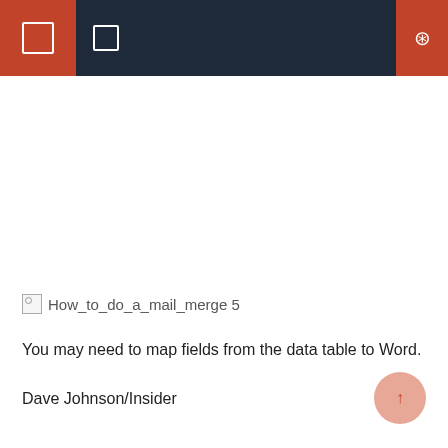Navigation bar with icons
[Figure (screenshot): Broken image placeholder labeled 'How_to_do_a_mail_merge 5']
You may need to map fields from the data table to Word.
Dave Johnson/Insider